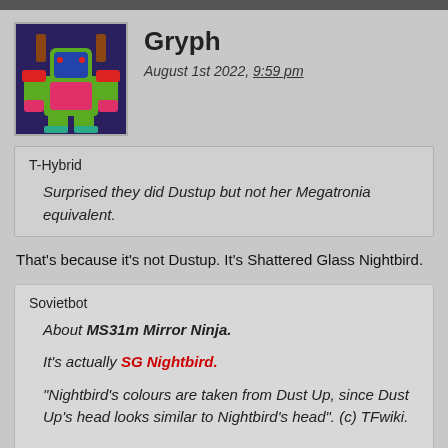Gryph
August 1st 2022, 9:59 pm
T-Hybrid
Surprised they did Dustup but not her Megatronia equivalent.
That's because it's not Dustup. It's Shattered Glass Nightbird.
Sovietbot
About MS31m Mirror Ninja.

It's actually SG Nightbird.

"Nightbird's colours are taken from Dust Up, since Dust Up's head looks similar to Nightbird's head". (c) TFwiki.